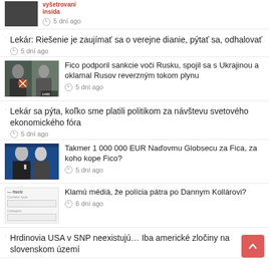[Figure (screenshot): Partial top article with red text and thumbnail of person]
5 dní ago
Lekár: Riešenie je zaujímať sa o verejne dianie, pýtať sa, odhalovať
5 dní ago
[Figure (photo): Two men in suits, one touching the other's arm]
Fico podporil sankcie voči Rusku, spojil sa s Ukrajinou a oklamal Rusov reverzným tokom plynu
5 dní ago
Lekár sa pýta, koľko sme platili politikom za návštevu svetového ekonomického fóra
5 dní ago
[Figure (photo): Two men in suits, one gesturing]
Takmer 1 000 000 EUR Naďovmu Globsecu za Fica, za koho kope Fico?
5 dní ago
[Figure (screenshot): Website form screenshot with fields]
Klamú médiá, že polícia pátra po Dannym Kollárovi?
6 dní ago
Hrdinovia USA v SNP neexistujú… Iba americké zločiny na slovenskom území